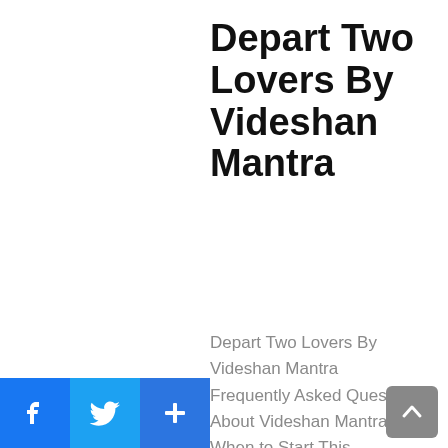Depart Two Lovers By Videshan Mantra
Depart Two Lovers By Videshan Mantra  Frequently Asked Questions About Videshan Mantra When to Start This Videshan Mantra Process? Start This Videshan Mantra Process on Wednesday In The Evening Time Around 12:00 – 6:00 PM Best Time For This Videshan Mantra Process? Start This Videshan Mantra Process he Evening Time Around 12:00 – 6:00 PM Can I Do this Videshan